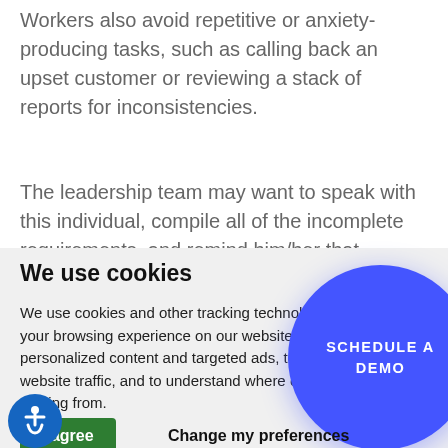Workers also avoid repetitive or anxiety-producing tasks, such as calling back an upset customer or reviewing a stack of reports for inconsistencies.
The leadership team may want to speak with this individual, compile all of the incomplete requirements, and remind him/her that meeting
We use cookies
We use cookies and other tracking technologies to improve your browsing experience on our website, to show you personalized content and targeted ads, to analyze our website traffic, and to understand where our visitors are coming from.
[Figure (other): Blue circular button with white text reading SCHEDULE A DEMO]
[Figure (other): Blue circular accessibility icon (wheelchair symbol)]
I agree
Change my preferences